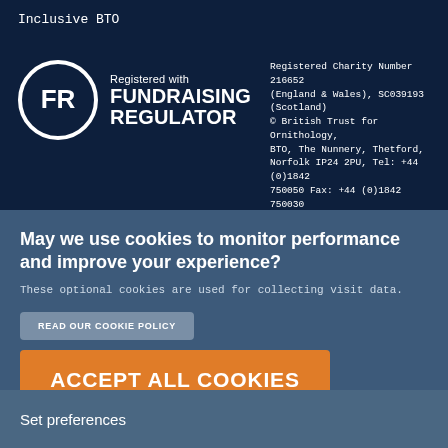Inclusive BTO
[Figure (logo): Fundraising Regulator logo — white circle with FR initials, text 'Registered with FUNDRAISING REGULATOR']
Registered Charity Number 216652 (England & Wales), SC039193 (Scotland) © British Trust for Ornithology, BTO, The Nunnery, Thetford, Norfolk IP24 2PU, Tel: +44 (0)1842 750050 Fax: +44 (0)1842 750030
May we use cookies to monitor performance and improve your experience?
These optional cookies are used for collecting visit data.
READ OUR COOKIE POLICY
ACCEPT ALL COOKIES
Set preferences